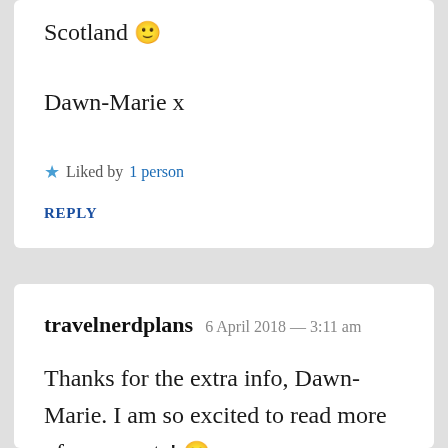Scotland 🙂
Dawn-Marie x
★ Liked by 1 person
REPLY
travelnerdplans  6 April 2018 — 3:11 am
Thanks for the extra info, Dawn-Marie. I am so excited to read more of your posts! 🙂